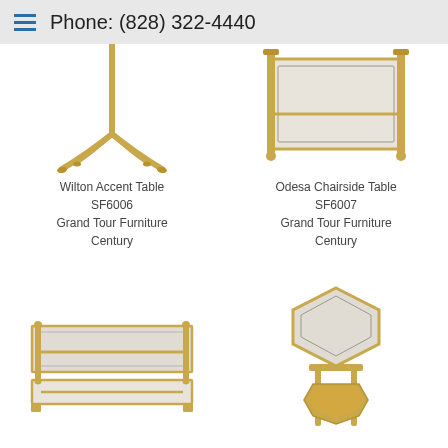Phone: (828) 322-4440
[Figure (photo): Wilton Accent Table SF6006 - gold/brass accent table with ornate curved four-legged base, partial view showing base only]
Wilton Accent Table
SF6006
Grand Tour Furniture
Century
[Figure (photo): Odesa Chairside Table SF6007 - square gold/brass framed glass table with four corner legs, partial view from above]
Odesa Chairside Table
SF6007
Grand Tour Furniture
Century
[Figure (photo): Rectangular two-tier coffee table with gold/brass frame and frosted glass shelves]
[Figure (photo): Hexagonal top accent/side table with gold/brass T-bar legs and hexagonal base]